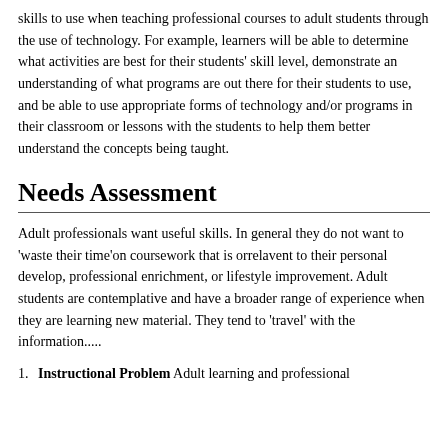skills to use when teaching professional courses to adult students through the use of technology. For example, learners will be able to determine what activities are best for their students' skill level, demonstrate an understanding of what programs are out there for their students to use, and be able to use appropriate forms of technology and/or programs in their classroom or lessons with the students to help them better understand the concepts being taught.
Needs Assessment
Adult professionals want useful skills. In general they do not want to 'waste their time'on coursework that is orrelavent to their personal develop, professional enrichment, or lifestyle improvement. Adult students are contemplative and have a broader range of experience when they are learning new material. They tend to 'travel' with the information.....
1. Instructional Problem Adult learning and professional